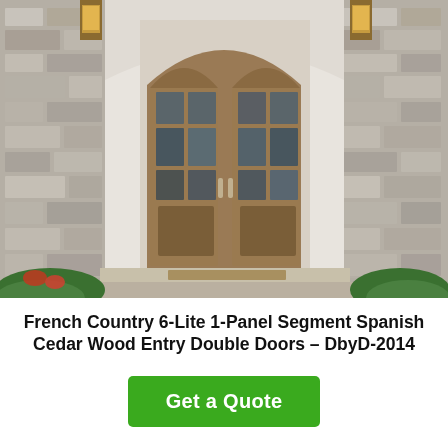[Figure (photo): Photograph of French Country 6-Lite 1-Panel Segment Spanish Cedar Wood Entry Double Doors. Two large wooden double doors with arched top and glass pane inserts, set in a stone facade with wall-mounted lantern sconces on either side. Stone steps lead up to the entrance with a doormat visible. Green shrubbery at the base of the walls.]
French Country 6-Lite 1-Panel Segment Spanish Cedar Wood Entry Double Doors – DbyD-2014
Get a Quote